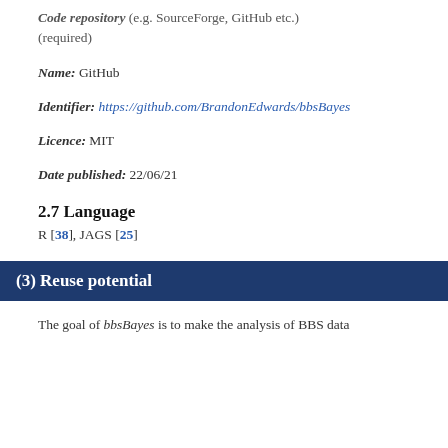Code repository (e.g. SourceForge, GitHub etc.) (required)
Name: GitHub
Identifier: https://github.com/BrandonEdwards/bbsBayes
Licence: MIT
Date published: 22/06/21
2.7 Language
R [38], JAGS [25]
(3) Reuse potential
The goal of bbsBayes is to make the analysis of BBS data